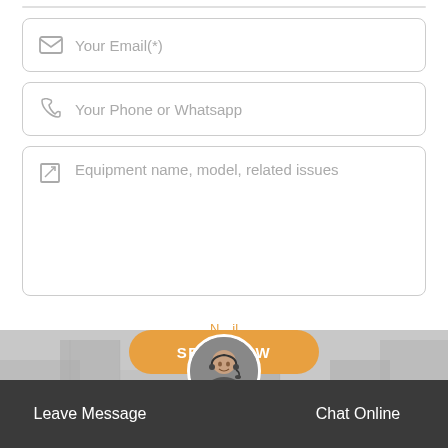Your Email(*)
Your Phone or Whatsapp
Equipment name, model, related issues
SEND NOW
N...il
Leave Message
Chat Online